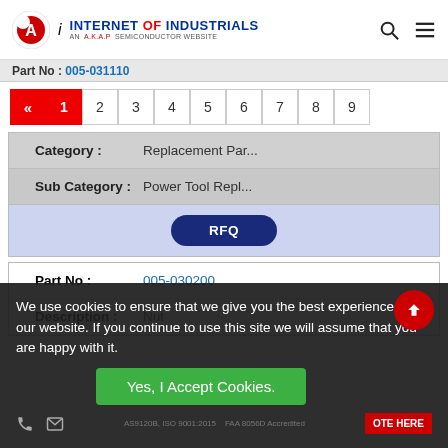INTERNET OF INDUSTRIALS - AN A.K.A.P SEMICONDUCTOR WEBSITE
Part No : 005-031110
Pagination: « 1 2 3 4 5 6 7 8 9
| Field | Value |
| --- | --- |
| Category : | Replacement Par... |
| Sub Category : | Power Tool Repl... |
|  | RFQ |
| Part No : | 005-030200 |
| Description : | Nut |
We use cookies to ensure that we give you the best experience on our website. If you continue to use this site we will assume that you are happy with it.
Yes, I Accept Cookies.
AS9120B, ISO 9001:2015, FAA 8056D Accredited   OTE HERE